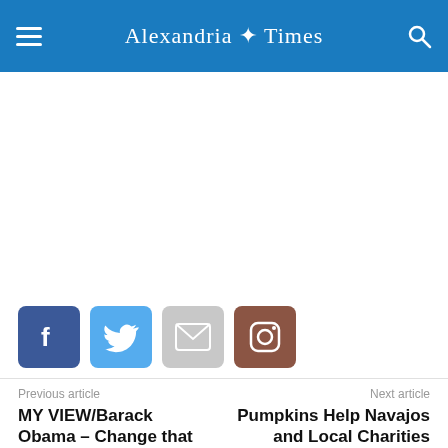Alexandria Times
[Figure (screenshot): White advertisement/content area]
[Figure (infographic): Social media share icons: Facebook, Twitter, Email, Instagram]
Previous article
Next article
MY VIEW/Barack Obama – Change that works for you
Pumpkins Help Navajos and Local Charities